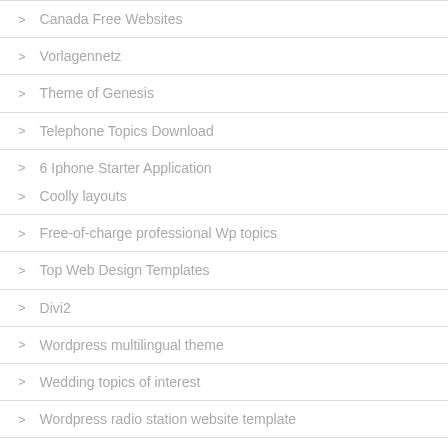Canada Free Websites
Vorlagennetz
Theme of Genesis
Telephone Topics Download
6 Iphone Starter Application
Coolly layouts
Free-of-charge professional Wp topics
Top Web Design Templates
Divi2
Wordpress multilingual theme
Wedding topics of interest
Wordpress radio station website template
Example of a sales e-mail
Online Wix
Fast Response Site Builder